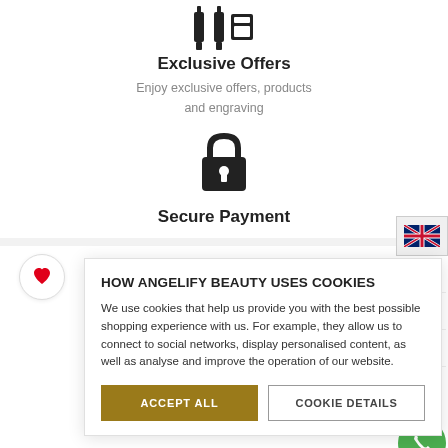[Figure (illustration): Two pen/stylus icons at the top of the page]
Exclusive Offers
Enjoy exclusive offers, products and engraving
[Figure (illustration): Padlock security icon]
Secure Payment
HOW ANGELIFY BEAUTY USES COOKIES
We use cookies that help us provide you with the best possible shopping experience with us. For example, they allow us to connect to social networks, display personalised content, as well as analyse and improve the operation of our website.
ACCEPT ALL
COOKIE DETAILS